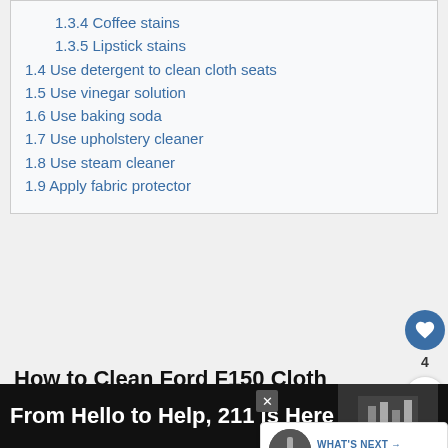1.3.4 Coffee stains
1.3.5 Lipstick stains
1.4 Use detergent to clean cloth seats
1.5 Use vinegar solution
1.6 Use baking soda
1.7 Use upholstery cleaner
1.8 Use steam cleaner
1.9 Apply fabric protector
How to Clean Ford F150 Cloth Seats?
Cloth seats on Ford F150 can get dirty and you should know techniques to clean them. In this article, we have added all the details.
From Hello to Help, 211 is Here